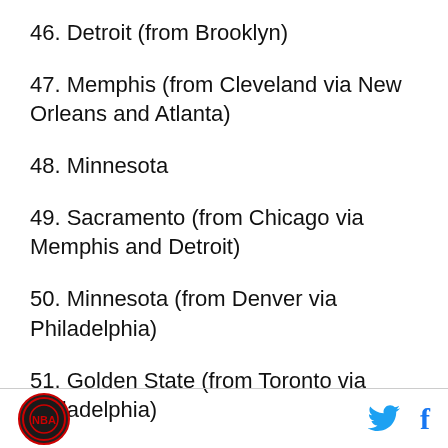46. Detroit (from Brooklyn)
47. Memphis (from Cleveland via New Orleans and Atlanta)
48. Minnesota
49. Sacramento (from Chicago via Memphis and Detroit)
50. Minnesota (from Denver via Philadelphia)
51. Golden State (from Toronto via Philadelphia)
52. New Orleans (from Utah)
Logo | Twitter | Facebook